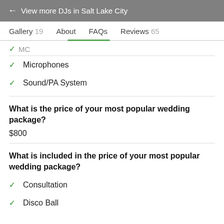← View more DJs in Salt Lake City
Gallery 19   About   FAQs   Reviews 65
MC
✓ Microphones
✓ Sound/PA System
What is the price of your most popular wedding package?
$800
What is included in the price of your most popular wedding package?
✓ Consultation
✓ Disco Ball